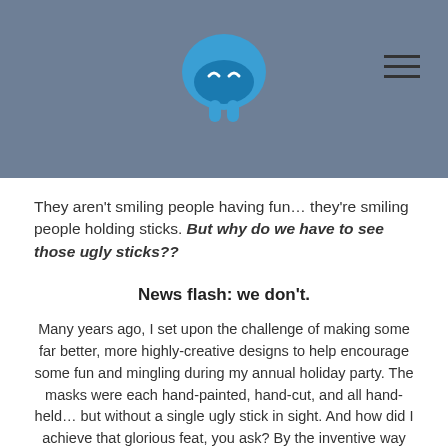[Figure (logo): Blue cartoon mushroom/headphone character logo on grey-blue header bar]
They aren't smiling people having fun… they're smiling people holding sticks. But why do we have to see those ugly sticks??
News flash: we don't.
Many years ago, I set upon the challenge of making some far better, more highly-creative designs to help encourage some fun and mingling during my annual holiday party. The masks were each hand-painted, hand-cut, and all hand-held… but without a single ugly stick in sight. And how did I achieve that glorious feat, you ask? By the inventive way that I integrated the handle into the design of the mask itself. It seemed so simple… but nobody was doing it!
Problem, solution. Business, created.
So let me turn YOUR event or special occasion into something that is instantly more unique. Hold a party… not a stick. See the